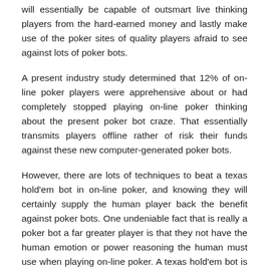will essentially be capable of outsmart live thinking players from the hard-earned money and lastly make use of the poker sites of quality players afraid to see against lots of poker bots.
A present industry study determined that 12% of on-line poker players were apprehensive about or had completely stopped playing on-line poker thinking about the present poker bot craze. That essentially transmits players offline rather of risk their funds against these new computer-generated poker bots.
However, there are lots of techniques to beat a texas hold'em bot in on-line poker, and knowing they will certainly supply the human player back the benefit against poker bots. One undeniable fact that is really a poker bot a far greater player is that they not have the human emotion or power reasoning the human must use when playing on-line poker. A texas hold'em bot is not likely to take 'tilt' or get